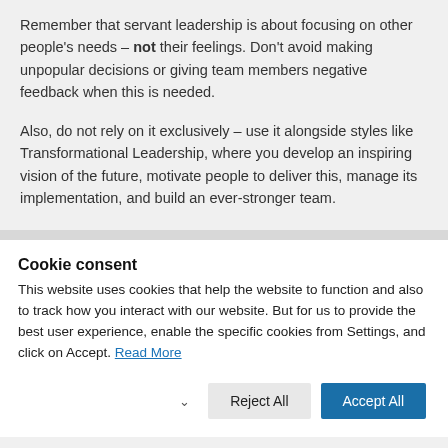Remember that servant leadership is about focusing on other people's needs – not their feelings. Don't avoid making unpopular decisions or giving team members negative feedback when this is needed.
Also, do not rely on it exclusively – use it alongside styles like Transformational Leadership, where you develop an inspiring vision of the future, motivate people to deliver this, manage its implementation, and build an ever-stronger team.
Cookie consent
This website uses cookies that help the website to function and also to track how you interact with our website. But for us to provide the best user experience, enable the specific cookies from Settings, and click on Accept. Read More